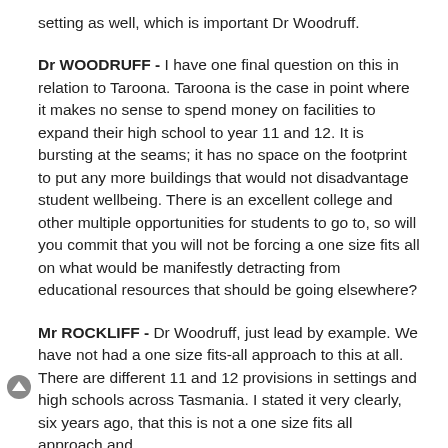setting as well, which is important Dr Woodruff.
Dr WOODRUFF - I have one final question on this in relation to Taroona. Taroona is the case in point where it makes no sense to spend money on facilities to expand their high school to year 11 and 12. It is bursting at the seams; it has no space on the footprint to put any more buildings that would not disadvantage student wellbeing. There is an excellent college and other multiple opportunities for students to go to, so will you commit that you will not be forcing a one size fits all on what would be manifestly detracting from educational resources that should be going elsewhere?
Mr ROCKLIFF - Dr Woodruff, just lead by example. We have not had a one size fits-all approach to this at all. There are different 11 and 12 provisions in settings and high schools across Tasmania. I stated it very clearly, six years ago, that this is not a one size fits all approach and